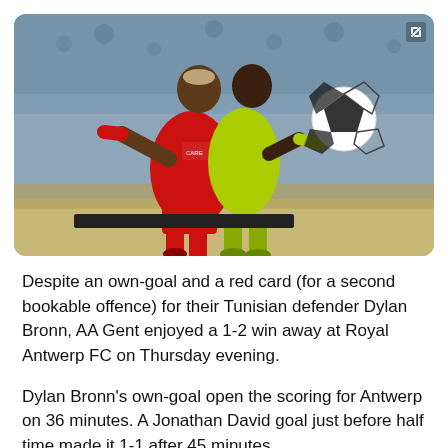[Figure (photo): Two soccer players competing for the ball during a match. One player in a red kit (Royal Antwerp FC) and another in a yellow-green kit. A black and white soccer ball is visible in the upper right. Stadium crowd visible in the background.]
Despite an own-goal and a red card (for a second bookable offence) for their Tunisian defender Dylan Bronn, AA Gent enjoyed a 1-2 win away at Royal Antwerp FC on Thursday evening.
Dylan Bronn's own-goal open the scoring for Antwerp on 36 minutes. A Jonathan David goal just before half time made it 1-1 after 45 minutes.